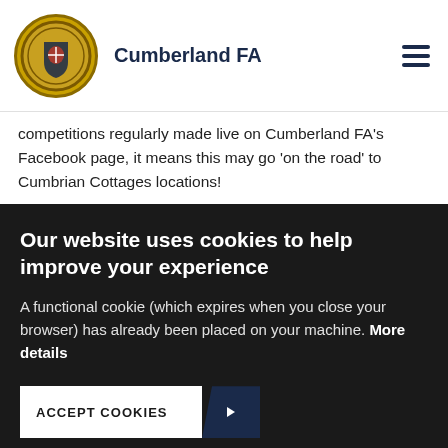Cumberland FA
competitions regularly made live on Cumberland FA's Facebook page, it means this may go 'on the road' to Cumbrian Cottages locations!
In the 2019-20 season the Cumberland Cup will see the return of the 'Team of the Round' award, to reward the teams who beat the odds to progress in the oldest and most prestigious Cumberland competition. A £100 Kit and
Our website uses cookies to help improve your experience
A functional cookie (which expires when you close your browser) has already been placed on your machine. More details
ACCEPT COOKIES